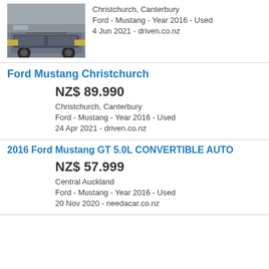[Figure (photo): Photo of a dark grey Ford Mustang car]
Christchurch, Canterbury
Ford - Mustang - Year 2016 - Used
4 Jun 2021 - driven.co.nz
Ford Mustang Christchurch
NZ$ 89.990
Christchurch, Canterbury
Ford - Mustang - Year 2016 - Used
24 Apr 2021 - driven.co.nz
2016 Ford Mustang GT 5.0L CONVERTIBLE AUTO
NZ$ 57.999
Central Auckland
Ford - Mustang - Year 2016 - Used
20 Nov 2020 - needacar.co.nz